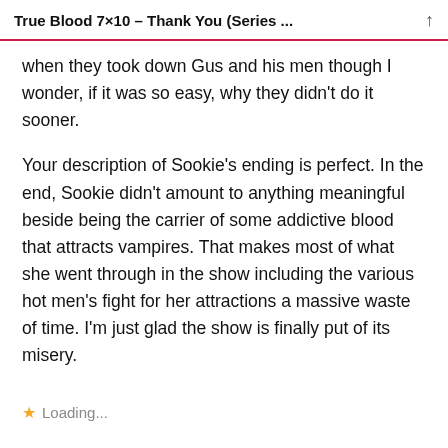True Blood 7×10 – Thank You (Series ...
when they took down Gus and his men though I wonder, if it was so easy, why they didn't do it sooner.
Your description of Sookie's ending is perfect. In the end, Sookie didn't amount to anything meaningful beside being the carrier of some addictive blood that attracts vampires. That makes most of what she went through in the show including the various hot men's fight for her attractions a massive waste of time. I'm just glad the show is finally put of its misery.
Loading...